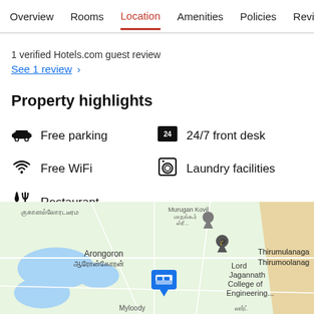Overview  Rooms  Location  Amenities  Policies  Reviews
1 verified Hotels.com guest review
See 1 review >
Property highlights
Free parking
24/7 front desk
Free WiFi
Laundry facilities
Restaurant
See all >
[Figure (map): Google Maps view showing Arongoron area with Lord Jagannath College of Engineering and Thirumulanagar marked, hotel pin in center]